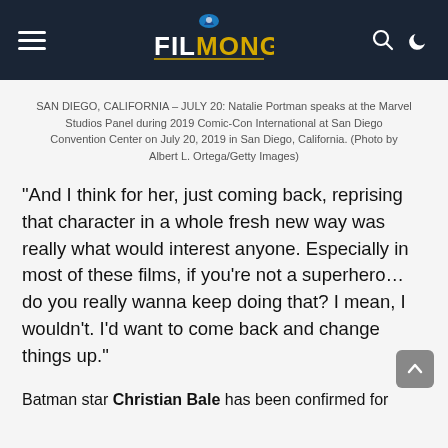FILMONGER
SAN DIEGO, CALIFORNIA – JULY 20: Natalie Portman speaks at the Marvel Studios Panel during 2019 Comic-Con International at San Diego Convention Center on July 20, 2019 in San Diego, California. (Photo by Albert L. Ortega/Getty Images)
“And I think for her, just coming back, reprising that character in a whole fresh new way was really what would interest anyone. Especially in most of these films, if you’re not a superhero… do you really wanna keep doing that? I mean, I wouldn’t. I’d want to come back and change things up.”
Batman star Christian Bale has been confirmed for